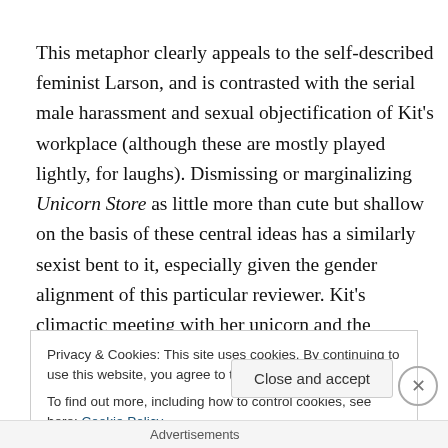This metaphor clearly appeals to the self-described feminist Larson, and is contrasted with the serial male harassment and sexual objectification of Kit's workplace (although these are mostly played lightly, for laughs). Dismissing or marginalizing Unicorn Store as little more than cute but shallow on the basis of these central ideas has a similarly sexist bent to it, especially given the gender alignment of this particular reviewer. Kit's climactic meeting with her unicorn and the emotional wallop it packs
Privacy & Cookies: This site uses cookies. By continuing to use this website, you agree to their use.
To find out more, including how to control cookies, see here: Cookie Policy
Close and accept
Advertisements